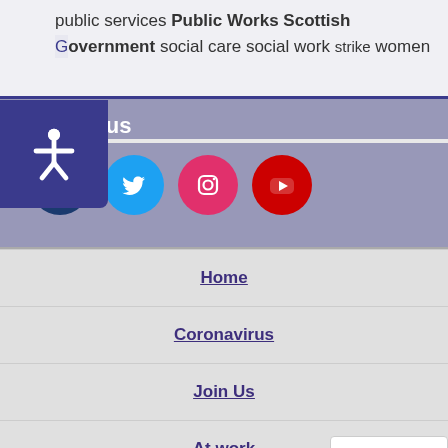public services Public Works Scottish Government social care social work strike women
Follow us
[Figure (other): Social media icons: Facebook (dark blue circle), Twitter (light blue circle), Instagram (pink/red circle), YouTube (red circle)]
Home
Coronavirus
Join Us
At work
News & Info